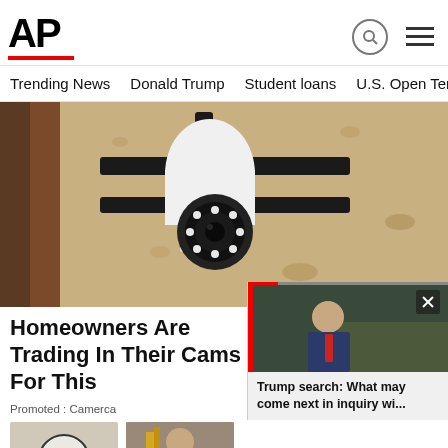[Figure (logo): AP (Associated Press) logo with red underline bar]
Trending News   Donald Trump   Student loans   U.S. Open Tenn
[Figure (photo): Close-up photo of a security camera shaped like a light bulb, mounted in a black bracket on a textured stone wall]
Homeowners Are Trading In Their Cams For This
Promoted : Camerca
[Figure (photo): Popup video thumbnail showing a man in a suit walking outdoors, with a red progress bar and close button X]
Trump search: What may come next in inquiry wi...
[Figure (photo): Accessibility icon circle with person figure, bottom left thumbnail]
[Figure (photo): Person at awards ceremony, bottom center thumbnail]